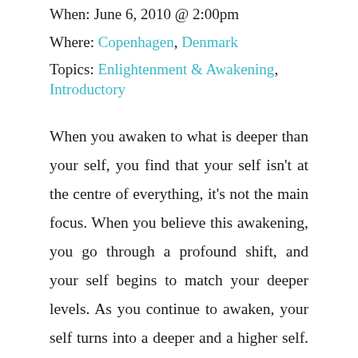When: June 6, 2010 @ 2:00pm
Where: Copenhagen, Denmark
Topics: Enlightenment & Awakening, Introductory
When you awaken to what is deeper than your self, you find that your self isn't at the centre of everything, it's not the main focus. When you believe this awakening, you go through a profound shift, and your self begins to match your deeper levels. As you continue to awaken, your self turns into a deeper and a higher self. A beautiful and elaborate teaching about how to sustain your awakening, keep developing, and function in this